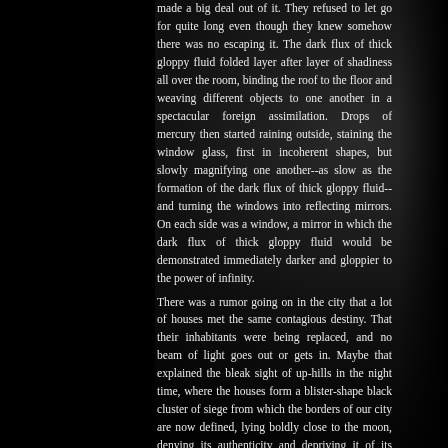made a big deal out of it. They refused to let go for quite long even though they knew somehow there was no escaping it. The dark flux of thick gloppy fluid folded layer after layer of shadiness all over the room, binding the roof to the floor and weaving different objects to one another in a spectacular foreign assimilation. Drops of mercury then started raining outside, staining the window glass, first in incoherent shapes, but slowly magnifying one another--as slow as the formation of the dark flux of thick gloppy fluid--and turning the windows into reflecting mirrors. On each side was a window, a mirror in which the dark flux of thick gloppy fluid would be demonstrated immediately darker and gloppier to the power of infinity.
There was a rumor going on in the city that a lot of houses met the same contagious destiny. That their inhabitants were being replaced, and no beam of light goes out or gets in. Maybe that explained the bleak sight of up-hills in the night time, where the houses form a blister-shape black cluster of siege from which the borders of our city are now defined, lying boldly close to the moon, denying its authenticity and depriving it of its lunar authority. The very moon to whom our cult had pledged its abidance, our night-sun of deliverance. I noticed that the colors lost